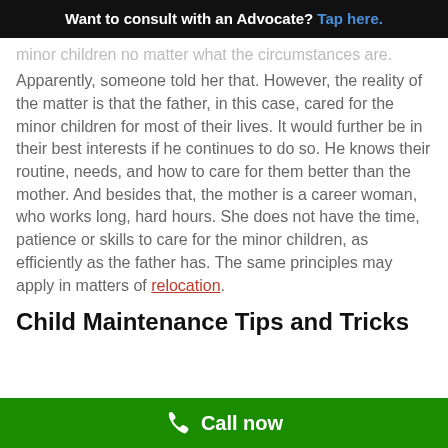Want to consult with an Advocate? Tap here.
minor children no matter what the circumstances are. Apparently, someone told her that. However, the reality of the matter is that the father, in this case, cared for the minor children for most of their lives. It would further be in their best interests if he continues to do so. He knows their routine, needs, and how to care for them better than the mother. And besides that, the mother is a career woman, who works long, hard hours. She does not have the time, patience or skills to care for the minor children, as efficiently as the father has. The same principles may apply in matters of relocation.
Child Maintenance Tips and Tricks
Call now